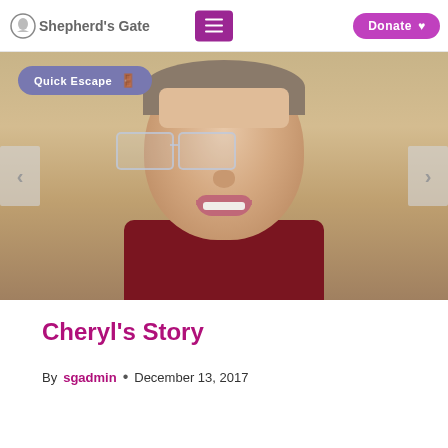Shepherd's Gate
[Figure (photo): Close-up photo of a woman with glasses and short hair, smiling, with a slider interface showing left and right navigation arrows and a Quick Escape button overlay]
Cheryl's Story
By sgadmin • December 13, 2017